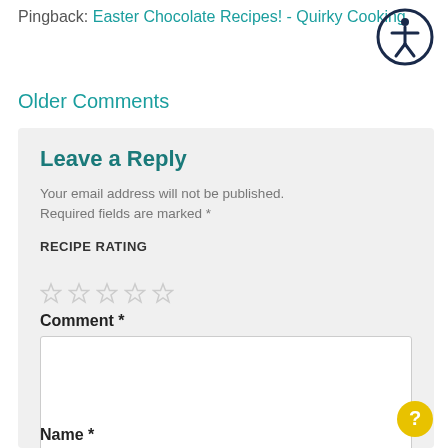Pingback: Easter Chocolate Recipes! - Quirky Cooking
Older Comments
Leave a Reply
Your email address will not be published. Required fields are marked *
RECIPE RATING
Comment *
Name *